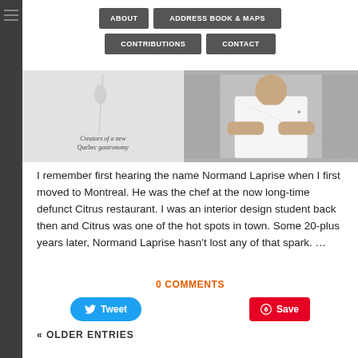ABOUT | ADDRESS BOOK & MAPS | CONTRIBUTIONS | CONTACT
[Figure (photo): Banner image showing 'Creators of a new Quebec gastronomy' text on left and a chef in white uniform on the right]
I remember first hearing the name Normand Laprise when I first moved to Montreal. He was the chef at the now long-time defunct Citrus restaurant. I was an interior design student back then and Citrus was one of the hot spots in town. Some 20-plus years later, Normand Laprise hasn't lost any of that spark. …
0 COMMENTS
Tweet
Save
« OLDER ENTRIES